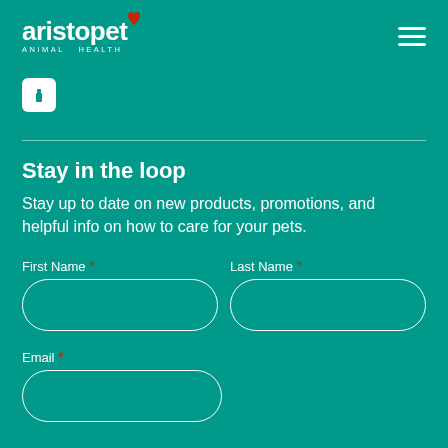[Figure (logo): Aristopet Animal Health logo in white with red heart accent, on teal background]
[Figure (other): White info icon (letter i) in a white rounded square]
Stay in the loop
Stay up to date on new products, promotions, and helpful info on how to care for your pets.
First Name *
Last Name *
Email *